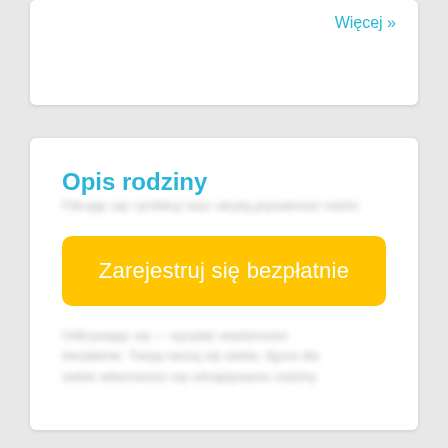Więcej »
Opis rodziny
[blurred placeholder text]
Zarejestruj się bezpłatnie
[blurred placeholder text]